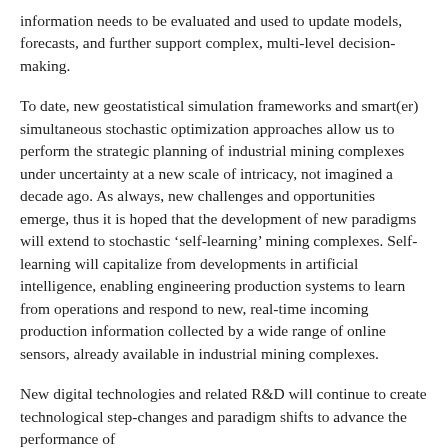information needs to be evaluated and used to update models, forecasts, and further support complex, multi-level decision-making.
To date, new geostatistical simulation frameworks and smart(er) simultaneous stochastic optimization approaches allow us to perform the strategic planning of industrial mining complexes under uncertainty at a new scale of intricacy, not imagined a decade ago. As always, new challenges and opportunities emerge, thus it is hoped that the development of new paradigms will extend to stochastic ‘self-learning’ mining complexes. Self-learning will capitalize from developments in artificial intelligence, enabling engineering production systems to learn from operations and respond to new, real-time incoming production information collected by a wide range of online sensors, already available in industrial mining complexes.
New digital technologies and related R&D will continue to create technological step-changes and paradigm shifts to advance the performance of